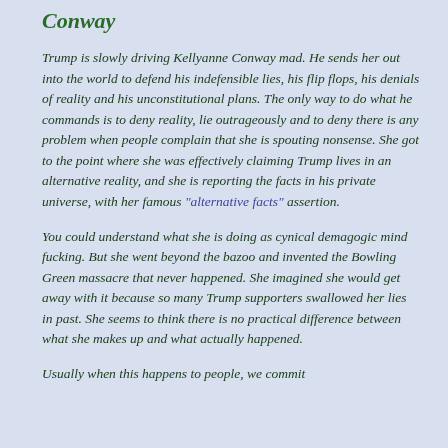Conway
Trump is slowly driving Kellyanne Conway mad. He sends her out into the world to defend his indefensible lies, his flip flops, his denials of reality and his unconstitutional plans. The only way to do what he commands is to deny reality, lie outrageously and to deny there is any problem when people complain that she is spouting nonsense. She got to the point where she was effectively claiming Trump lives in an alternative reality, and she is reporting the facts in his private universe, with her famous "alternative facts" assertion.
You could understand what she is doing as cynical demagogic mind fucking. But she went beyond the bazoo and invented the Bowling Green massacre that never happened. She imagined she would get away with it because so many Trump supporters swallowed her lies in past. She seems to think there is no practical difference between what she makes up and what actually happened.
Usually when this happens to people, we commit